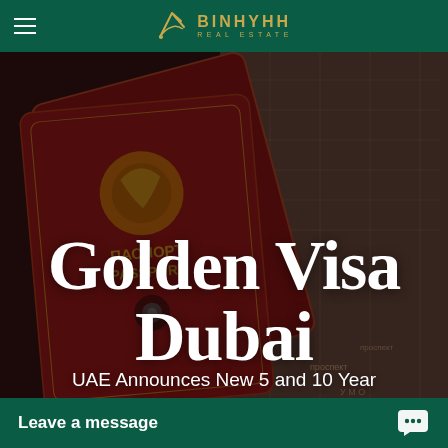BINHYHH REAL ESTATE
[Figure (photo): Close-up photograph of red Russian/Cyrillic passports (ПАСПОРТ / PASSPORT) overlaid on a map, with dark overlay. Large white serif text 'Golden Visa Dubai' and subtitle 'UAE Announces New 5 and 10 Year Residency Programs' overlaid on the image.]
Golden Visa Dubai
UAE Announces New 5 and 10 Year Residency Programs
Leave a message